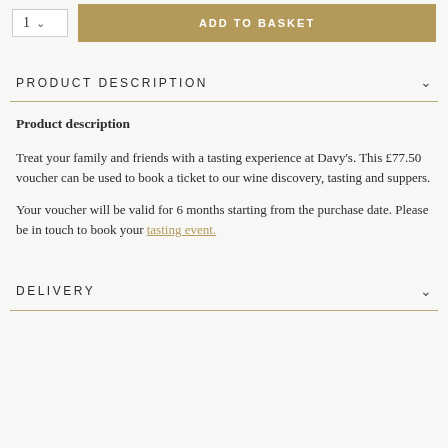[Figure (screenshot): Add to basket UI with quantity selector showing '1' and a gold 'ADD TO BASKET' button]
PRODUCT DESCRIPTION
Product description
Treat your family and friends with a tasting experience at Davy's. This £77.50 voucher can be used to book a ticket to our wine discovery, tasting and suppers.
Your voucher will be valid for 6 months starting from the purchase date. Please be in touch to book your tasting event.
DELIVERY